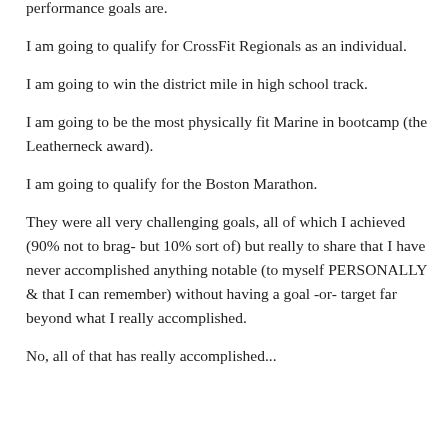performance goals are.
I am going to qualify for CrossFit Regionals as an individual.
I am going to win the district mile in high school track.
I am going to be the most physically fit Marine in bootcamp (the Leatherneck award).
I am going to qualify for the Boston Marathon.
They were all very challenging goals, all of which I achieved (90% not to brag- but 10% sort of) but really to share that I have never accomplished anything notable (to myself PERSONALLY & that I can remember) without having a goal -or- target far beyond what I really accomplished.
No, all of that has really accomplished...